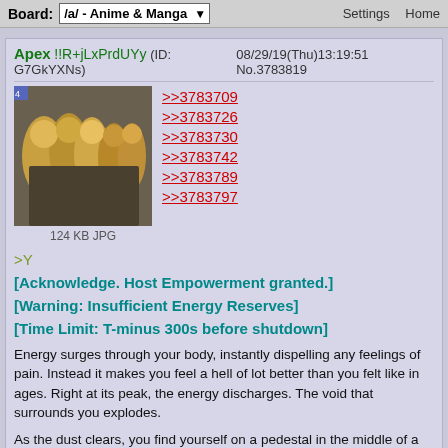Board: /a/ - Anime & Manga | Settings | Home
Apex !!R+jLxPrdUYy (ID: G7GkYXNs)
08/29/19(Thu)13:19:51 No.3783819
[Figure (photo): Group of armored figures, possibly robots or soldiers in golden/metallic armor]
124 KB JPG
>>3783709
>>3783726
>>3783730
>>3783742
>>3783789
>>3783797
>Y
[Acknowledge. Host Empowerment granted.]
[Warning: Insufficient Energy Reserves]
[Time Limit: T-minus 300s before shutdown]
Energy surges through your body, instantly dispelling any feelings of pain. Instead it makes you feel a hell of lot better than you felt like in ages. Right at its peak, the energy discharges. The void that surrounds you explodes.
As the dust clears, you find yourself on a pedestal in the middle of a pretty large chamber with debris all over the place. You see